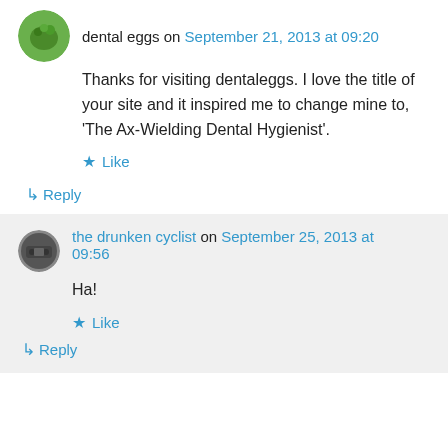dental eggs on September 21, 2013 at 09:20
Thanks for visiting dentaleggs. I love the title of your site and it inspired me to change mine to, 'The Ax-Wielding Dental Hygienist'.
★ Like
↳ Reply
the drunken cyclist on September 25, 2013 at 09:56
Ha!
★ Like
↳ Reply